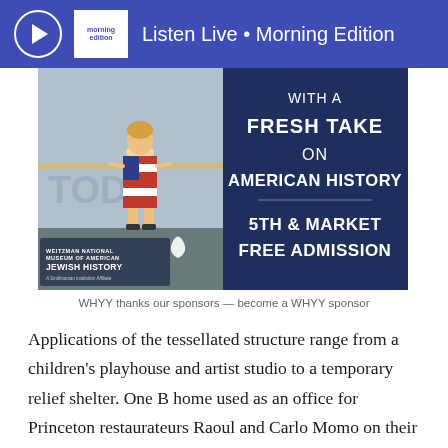Listen Live • Morning Edition
[Figure (photo): Advertisement for Weitzman National Museum of American Jewish History. Left half shows a young girl in an American flag dress standing at a museum railing. Right half has dark blue background with white text: 'WITH A FRESH TAKE ON AMERICAN HISTORY — 5TH & MARKET FREE ADMISSION'. Museum logo and name appear at bottom left.]
WHYY thanks our sponsors — become a WHYY sponsor
Applications of the tessellated structure range from a children's playhouse and artist studio to a temporary relief shelter. One B home used as an office for Princeton restaurateurs Raoul and Carlo Momo on their Kingston-based farm.